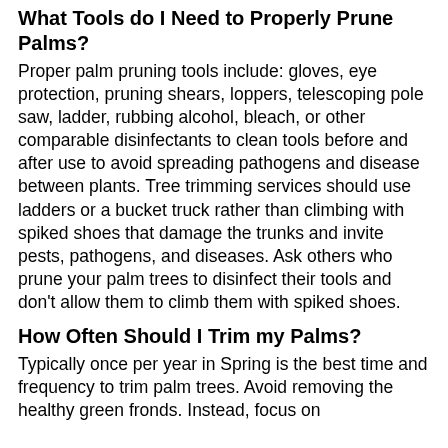What Tools do I Need to Properly Prune Palms?
Proper palm pruning tools include: gloves, eye protection, pruning shears, loppers, telescoping pole saw, ladder, rubbing alcohol, bleach, or other comparable disinfectants to clean tools before and after use to avoid spreading pathogens and disease between plants. Tree trimming services should use ladders or a bucket truck rather than climbing with spiked shoes that damage the trunks and invite pests, pathogens, and diseases. Ask others who prune your palm trees to disinfect their tools and don’t allow them to climb them with spiked shoes.
How Often Should I Trim my Palms?
Typically once per year in Spring is the best time and frequency to trim palm trees. Avoid removing the healthy green fronds. Instead, focus on